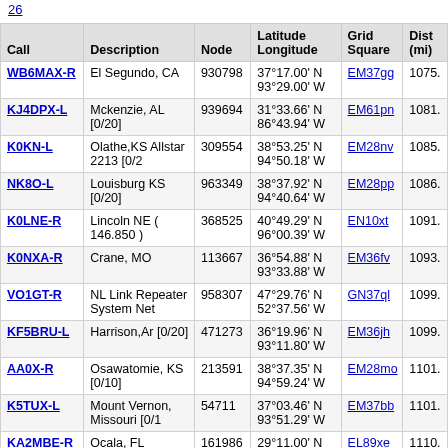26
| Call | Description | Node | Latitude Longitude | Grid Square | Dist (mi) |
| --- | --- | --- | --- | --- | --- |
| WB6MAX-R | El Segundo, CA | 930798 | 37°17.00' N 93°29.00' W | EM37gg | 1075. |
| KJ4DPX-L | Mckenzie, AL [0/20] | 939694 | 31°33.66' N 86°43.94' W | EM61pn | 1081. |
| K0KN-L | Olathe,KS Allstar 2213 [0/2 | 309554 | 38°53.25' N 94°50.18' W | EM28nv | 1085. |
| NK8O-L | Louisburg KS [0/20] | 963349 | 38°37.92' N 94°40.64' W | EM28pp | 1086. |
| K0LNE-R | Lincoln NE ( 146.850 ) | 368525 | 40°49.29' N 96°00.39' W | EN10xt | 1091. |
| K0NXA-R | Crane, MO | 113667 | 36°54.88' N 93°33.88' W | EM36fv | 1093. |
| VO1GT-R | NL Link Repeater System Net | 958307 | 47°29.76' N 52°37.56' W | GN37ql | 1099. |
| KF5BRU-L | Harrison,Ar [0/20] | 471273 | 36°19.96' N 93°11.80' W | EM36jh | 1099. |
| AA0X-R | Osawatomie, KS [0/10] | 213591 | 38°37.35' N 94°59.24' W | EM28mo | 1101. |
| K5TUX-L | Mount Vernon, Missouri [0/1 | 54711 | 37°03.46' N 93°51.29' W | EM37bb | 1101. |
| KA2MBE-R | Ocala, FL | 161986 | 29°11.00' N 82°04.00' W | EL89xe | 1110. |